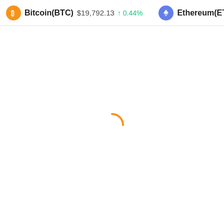Bitcoin(BTC) $19,792.13 ↑ 0.44%   Ethereum(ETH) $1,567
[Figure (other): Loading spinner — an orange arc (top semicircle) indicating page content is loading]